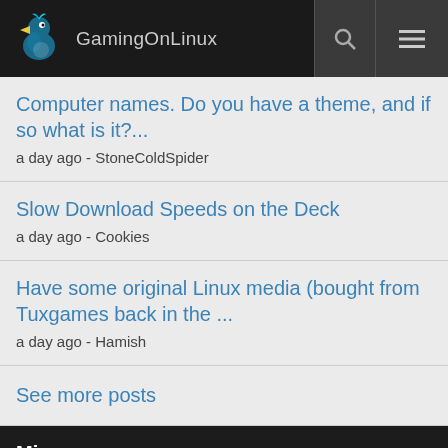GamingOnLinux
Computer names. Do you have a theme, and if so what is it?...
a day ago - StoneColdSpider
Slow Download Speeds on the Deck
a day ago - Cookies
Have some original Linux media (bought from Tuxgames back in the ...
a day ago - Hamish
See more posts
Misc
Cookie Preferences
Support Us